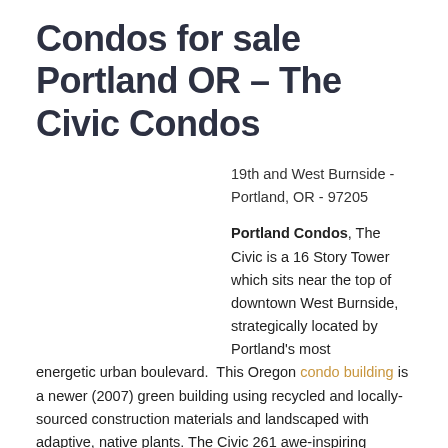Condos for sale Portland OR – The Civic Condos
19th and West Burnside  -  Portland, OR  -  97205
Portland Condos, The Civic is a 16 Story Tower which sits near the top of downtown West Burnside, strategically located by Portland's most energetic urban boulevard.  This Oregon condo building is a newer (2007) green building using recycled and locally-sourced construction materials and landscaped with adaptive, native plants. The Civic 261 awe-inspiring homes offers many luxurious features typically found in condos buildings at a much higher price point.  Most of